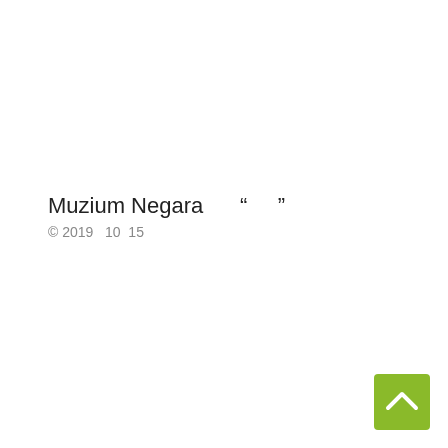Muzium Negara “ ”
© 2019　10　15
[Figure (other): Green back-to-top button with upward chevron arrow in bottom right corner]